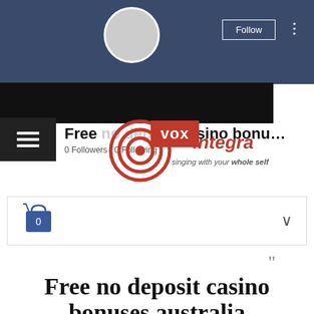[Figure (screenshot): Top banner with blue background, circular profile image placeholder, Follow button and three-dot menu]
[Figure (logo): VOX Integra logo with target/bullseye graphic, red VOX badge, red italic integra text, tagline singing with your whole self]
Free no deposit casino bonu...
0 Followers · 0 Following
[Figure (screenshot): Shopping cart icon with 0 items in a bordered box with chevron]
Supported by Guildhall Creative Entrepreneurs
Profile
A small yet compelling vocal coaching org... positioning itself to take the teaching of vocal arts to a new level ... VOX fosters a unique entrepreneurial spirit helping singers navigate the crucial transition from student to professional.
Join date: May 18, 2022
About
Amati Guildhall Creative Entrepreneurs Award
Free no deposit casino bonuses australia